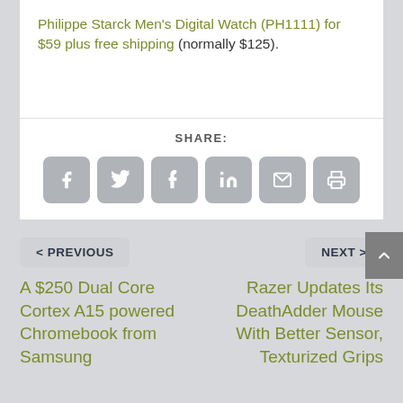Philippe Starck Men's Digital Watch (PH1111) for $59 plus free shipping (normally $125).
SHARE:
[Figure (infographic): Row of six social share icon buttons: Facebook, Twitter, Tumblr, LinkedIn, Email, Print]
< PREVIOUS
NEXT >
A $250 Dual Core Cortex A15 powered Chromebook from Samsung
Razer Updates Its DeathAdder Mouse With Better Sensor, Texturized Grips